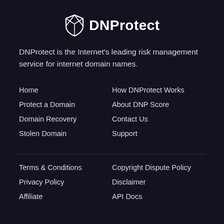[Figure (logo): DNProtect shield logo with text 'DNProtect']
DNProtect is the Internet's leading risk management service for internet domain names.
Home
Protect a Domain
Domain Recovery
Stolen Domain
How DNProtect Works
About DNP Score
Contact Us
Support
Terms & Conditions
Privacy Policy
Affiliate
Copyright Dispute Policy
Disclaimer
API Docs